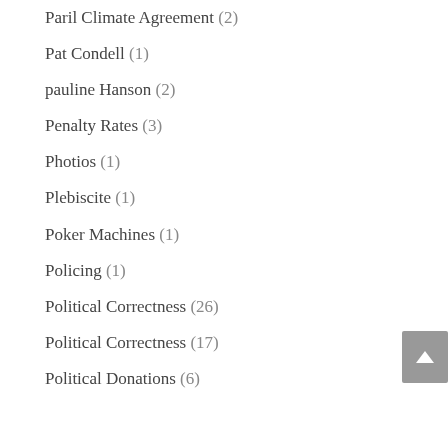Paril Climate Agreement (2)
Pat Condell (1)
pauline Hanson (2)
Penalty Rates (3)
Photios (1)
Plebiscite (1)
Poker Machines (1)
Policing (1)
Political Correctness (26)
Political Correctness (17)
Political Donations (6)